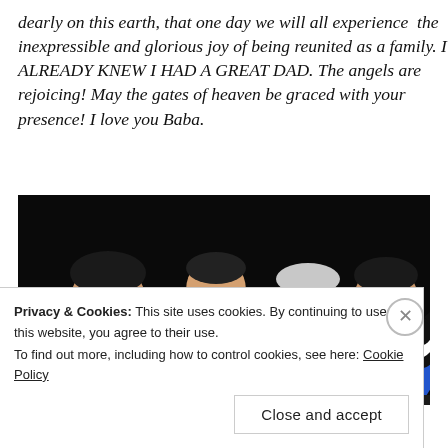dearly on this earth, that one day we will all experience the inexpressible and glorious joy of being reunited as a family. I ALREADY KNEW I HAD A GREAT DAD. The angels are rejoicing! May the gates of heaven be graced with your presence! I love you Baba.
[Figure (photo): Family photo showing four people wearing blue shirts against a dark background: a man on the left smiling, a young child in the center-left, an elderly man in glasses in the center-right, and a woman on the right holding a black and white Boston Terrier dog.]
Privacy & Cookies: This site uses cookies. By continuing to use this website, you agree to their use.
To find out more, including how to control cookies, see here: Cookie Policy
Close and accept